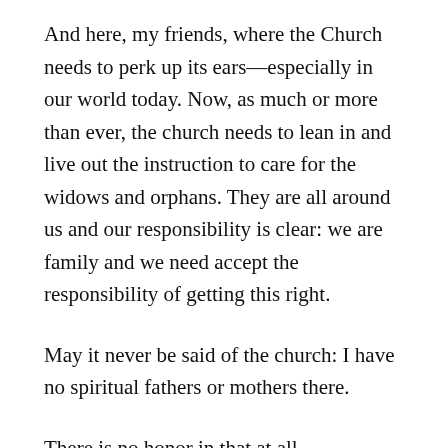And here, my friends, where the Church needs to perk up its ears—especially in our world today. Now, as much or more than ever, the church needs to lean in and live out the instruction to care for the widows and orphans. They are all around us and our responsibility is clear: we are family and we need accept the responsibility of getting this right.
May it never be said of the church: I have no spiritual fathers or mothers there.
There is no honor in that at all.
Share this: